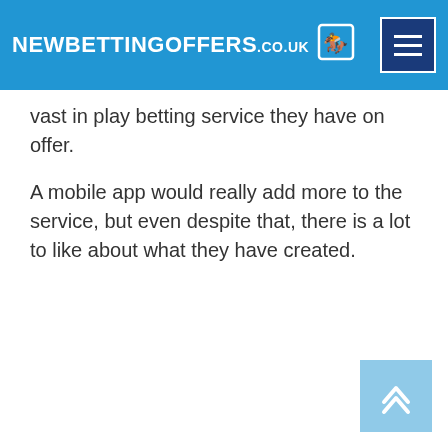NEWBETTINGOFFERS.CO.UK
vast in play betting service they have on offer.
A mobile app would really add more to the service, but even despite that, there is a lot to like about what they have created.